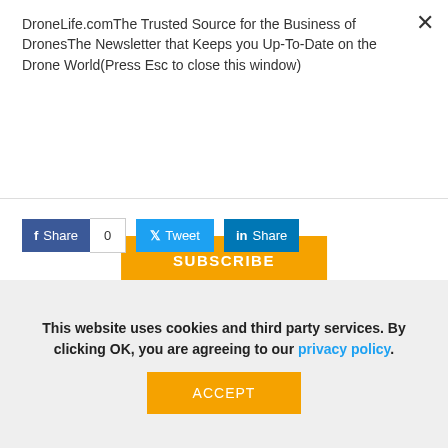DroneLife.comThe Trusted Source for the Business of DronesThe Newsletter that Keeps you Up-To-Date on the Drone World(Press Esc to close this window)
SUBSCRIBE
Share  0   Tweet   Share
DJI Upgrades M200 Series & FlightHub With Night Flights & BVLOS In Mind
This website uses cookies and third party services. By clicking OK, you are agreeing to our privacy policy.
ACCEPT